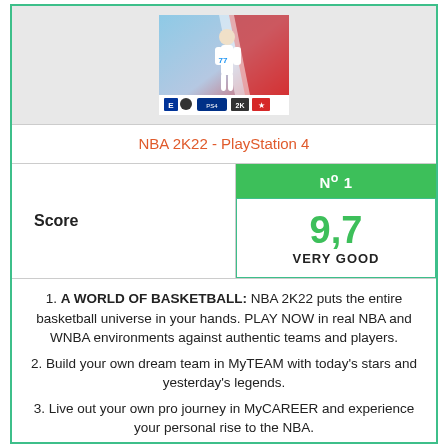[Figure (photo): NBA 2K22 PlayStation 4 game cover art showing a basketball player in white uniform with red and blue background, with ESRB rating and platform logos at the bottom]
NBA 2K22 - PlayStation 4
| Score | Nº 1 / 9,7 VERY GOOD |
| --- | --- |
1. A WORLD OF BASKETBALL: NBA 2K22 puts the entire basketball universe in your hands. PLAY NOW in real NBA and WNBA environments against authentic teams and players.
2. Build your own dream team in MyTEAM with today's stars and yesterday's legends.
3. Live out your own pro journey in MyCAREER and experience your personal rise to the NBA.
4. Flex your management skills as a powerful